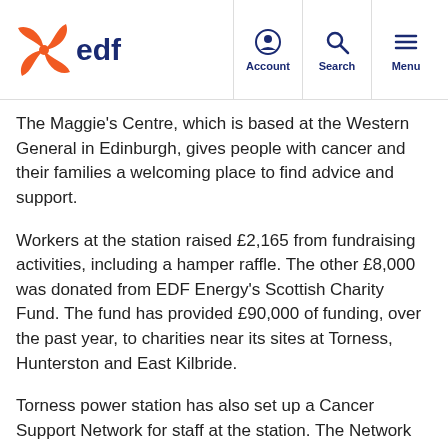EDF — Account | Search | Menu
The Maggie’s Centre, which is based at the Western General in Edinburgh, gives people with cancer and their families a welcoming place to find advice and support.
Workers at the station raised £2,165 from fundraising activities, including a hamper raffle. The other £8,000 was donated from EDF Energy’s Scottish Charity Fund. The fund has provided £90,000 of funding, over the past year, to charities near its sites at Torness, Hunterston and East Kilbride.
Torness power station has also set up a Cancer Support Network for staff at the station. The Network aims to make “cancer at work, work”